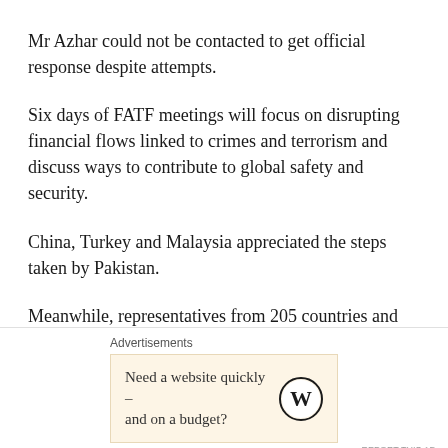Mr Azhar could not be contacted to get official response despite attempts.
Six days of FATF meetings will focus on disrupting financial flows linked to crimes and terrorism and discuss ways to contribute to global safety and security.
China, Turkey and Malaysia appreciated the steps taken by Pakistan.
Meanwhile, representatives from 205 countries and jurisdictions around the world, the IMF, UN, World Bank and other organisations are attending the meeting.
At the Tuesday meeting, India has recommended to blackli...
Advertisements
[Figure (other): Advertisement banner: Need a website quickly – and on a budget? WordPress logo]